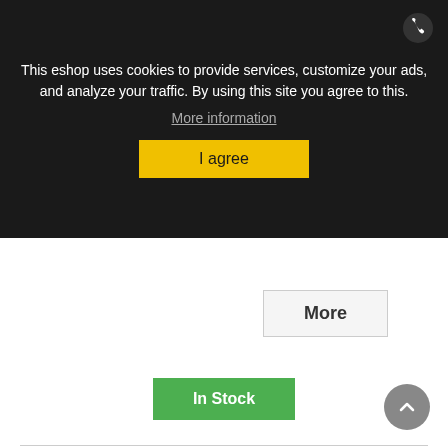This eshop uses cookies to provide services, customize your ads, and analyze your traffic. By using this site you agree to this.
More information
I agree
More
In Stock
Add to Wishlist
Showing 1 - 2 of 2 items